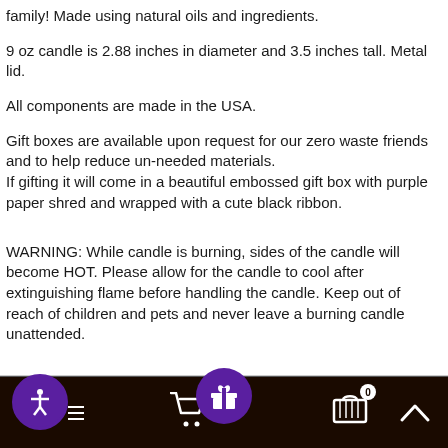family! Made using natural oils and ingredients.
9 oz candle is 2.88 inches in diameter and 3.5 inches tall. Metal lid.
All components are made in the USA.
Gift boxes are available upon request for our zero waste friends and to help reduce un-needed materials.
If gifting it will come in a beautiful embossed gift box with purple paper shred and wrapped with a cute black ribbon.
WARNING: While candle is burning, sides of the candle will become HOT. Please allow for the candle to cool after extinguishing flame before handling the candle. Keep out of reach of children and pets and never leave a burning candle unattended.
Navigation bar with accessibility, cart, gift, bag, and up icons